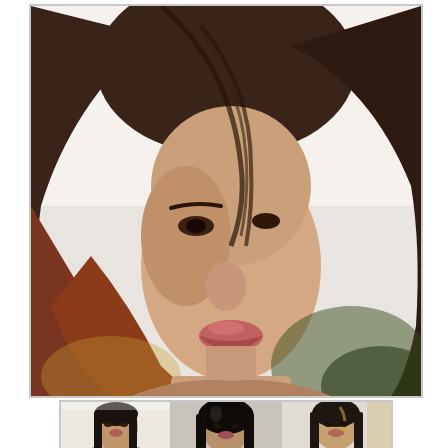[Figure (photo): Close-up portrait photograph of a young woman with long dark/auburn windswept hair, looking slightly upward. Shot against a light background with bokeh. Hair blowing across her face. Lips slightly parted.]
[Figure (photo): A horizontal strip of three portrait photos of the same woman or similar women with long dark hair, shown from roughly waist or chest up against plain backgrounds.]